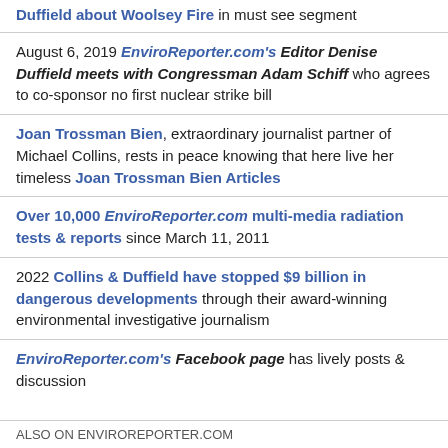Duffield about Woolsey Fire in must see segment
August 6, 2019 EnviroReporter.com's Editor Denise Duffield meets with Congressman Adam Schiff who agrees to co-sponsor no first nuclear strike bill
Joan Trossman Bien, extraordinary journalist partner of Michael Collins, rests in peace knowing that here live her timeless Joan Trossman Bien Articles
Over 10,000 EnviroReporter.com multi-media radiation tests & reports since March 11, 2011
2022 Collins & Duffield have stopped $9 billion in dangerous developments through their award-winning environmental investigative journalism
EnviroReporter.com's Facebook page has lively posts & discussion
ALSO ON ENVIROREPORTER.COM